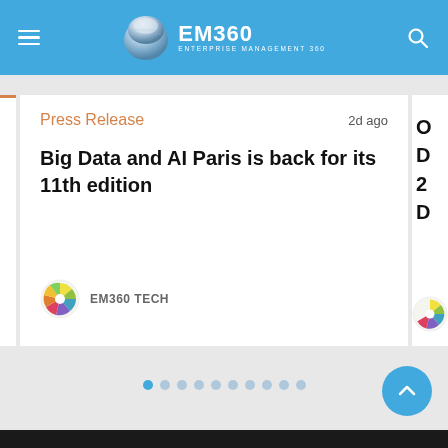[Figure (logo): EM360 Enterprise Management 360 logo with silver disc and text on blue navigation bar]
Press Release
2d ago
Big Data and AI Paris is back for its 11th edition
EM360 TECH